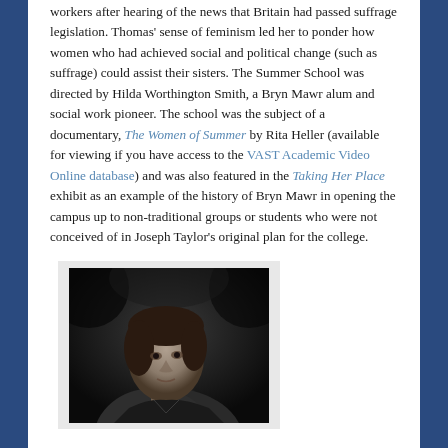workers after hearing of the news that Britain had passed suffrage legislation. Thomas' sense of feminism led her to ponder how women who had achieved social and political change (such as suffrage) could assist their sisters. The Summer School was directed by Hilda Worthington Smith, a Bryn Mawr alum and social work pioneer. The school was the subject of a documentary, The Women of Summer by Rita Heller (available for viewing if you have access to the VAST Academic Video Online database) and was also featured in the Taking Her Place exhibit as an example of the history of Bryn Mawr in opening the campus up to non-traditional groups or students who were not conceived of in Joseph Taylor's original plan for the college.
[Figure (photo): Black and white portrait photograph of a woman, appears to be a historical photograph showing a woman's face and upper shoulders in a formal pose.]